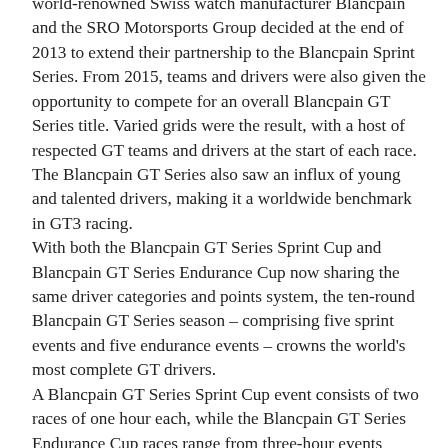world-renowned Swiss watch manufacturer Blancpain and the SRO Motorsports Group decided at the end of 2013 to extend their partnership to the Blancpain Sprint Series. From 2015, teams and drivers were also given the opportunity to compete for an overall Blancpain GT Series title. Varied grids were the result, with a host of respected GT teams and drivers at the start of each race. The Blancpain GT Series also saw an influx of young and talented drivers, making it a worldwide benchmark in GT3 racing.
With both the Blancpain GT Series Sprint Cup and Blancpain GT Series Endurance Cup now sharing the same driver categories and points system, the ten-round Blancpain GT Series season – comprising five sprint events and five endurance events – crowns the world's most complete GT drivers.
A Blancpain GT Series Sprint Cup event consists of two races of one hour each, while the Blancpain GT Series Endurance Cup races range from three-hour events through a 1000 km race to the season highlight of the Total 24 Hours of Spa, one of the world's leading 24-hour races.